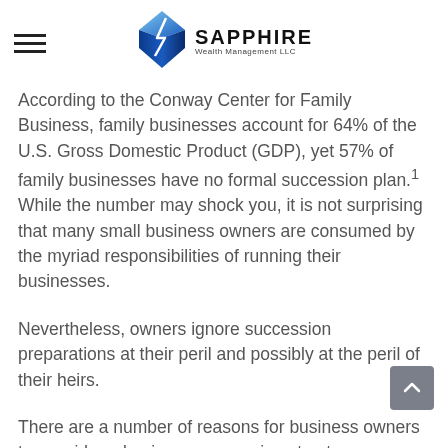Sapphire Wealth Management LLC
According to the Conway Center for Family Business, family businesses account for 64% of the U.S. Gross Domestic Product (GDP), yet 57% of family businesses have no formal succession plan.1 While the number may shock you, it is not surprising that many small business owners are consumed by the myriad responsibilities of running their businesses.
Nevertheless, owners ignore succession preparations at their peril and possibly at the peril of their heirs.
There are a number of reasons for business owners to consider a business succession structure sooner